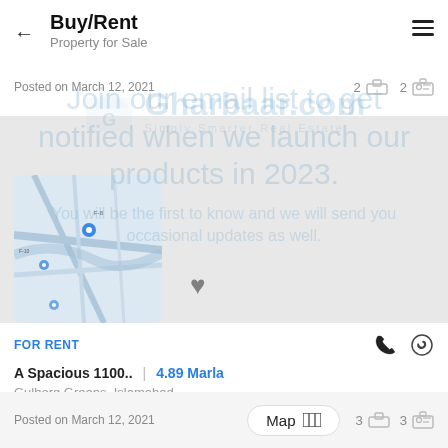Buy/Rent
Property for Sale
Posted on March 12, 2021   2  2
[Figure (screenshot): Gharbaar.com watermark overlay with logo, tagline 'Simply Smarter Real Estate', and promotional text: 'Join our email list to get notified when we launch our products in 2023. You will be the first to know and we will send you occasional updates as well.']
[Figure (map): Street map thumbnail showing Islamabad area with blue location pins]
FOR RENT
A Spacious 1100..  |  4.89 Marla
Gulberg Greens, Islamabad
PKR 45000
Posted on March 12, 2021   Map   3   3